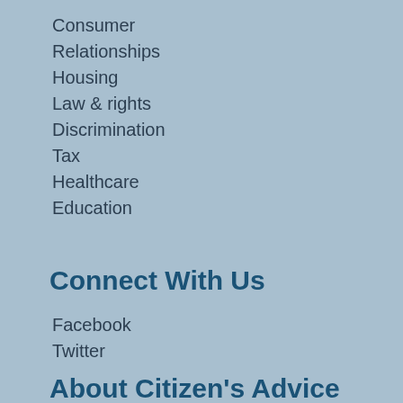Consumer
Relationships
Housing
Law & rights
Discrimination
Tax
Healthcare
Education
Connect With Us
Facebook
Twitter
About Citizen's Advice